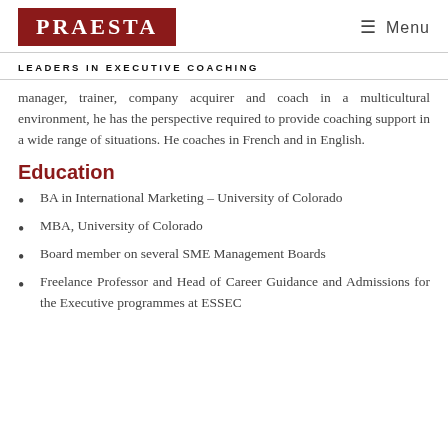PRAESTA | Menu
LEADERS IN EXECUTIVE COACHING
manager, trainer, company acquirer and coach in a multicultural environment, he has the perspective required to provide coaching support in a wide range of situations. He coaches in French and in English.
Education
BA in International Marketing – University of Colorado
MBA, University of Colorado
Board member on several SME Management Boards
Freelance Professor and Head of Career Guidance and Admissions for the Executive programmes at ESSEC